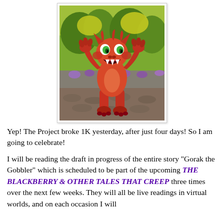[Figure (illustration): A 3D rendered red dragon/goblin creature standing upright with hands raised near its face, wide open mouth, big green eyes, in a colorful outdoor environment with trees and purple flowers]
Yep!  The Project broke 1K yesterday, after just four days!  So I am going to celebrate!
I will be reading the draft in progress of the entire story "Gorak the Gobbler" which is scheduled to be part of the upcoming THE BLACKBERRY & OTHER TALES THAT CREEP three times over the next few weeks. They will all be live readings in virtual worlds, and on each occasion I will